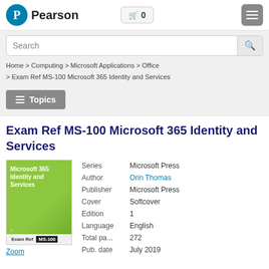Pearson — Cart: 0 — Menu
Search
Home > Computing > Microsoft Applications > Office > Exam Ref MS-100 Microsoft 365 Identity and Services
Topics
Exam Ref MS-100 Microsoft 365 Identity and Services
[Figure (illustration): Book cover: Microsoft 365 Identity and Services, Exam Ref MS-100, green cover]
Zoom
| Field | Value |
| --- | --- |
| Series | Microsoft Press |
| Author | Orin Thomas |
| Publisher | Microsoft Press |
| Cover | Softcover |
| Edition | 1 |
| Language | English |
| Total pa... | 272 |
| Pub. date | July 2019 |